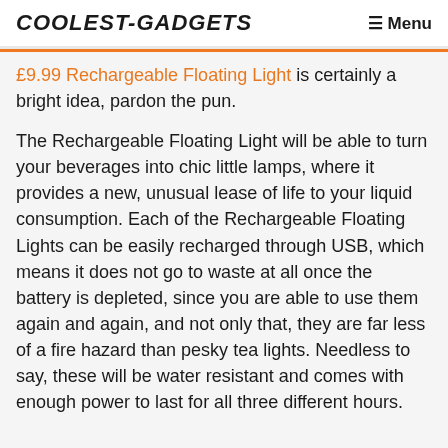COOLEST-GADGETS  Menu
£9.99 Rechargeable Floating Light is certainly a bright idea, pardon the pun.
The Rechargeable Floating Light will be able to turn your beverages into chic little lamps, where it provides a new, unusual lease of life to your liquid consumption. Each of the Rechargeable Floating Lights can be easily recharged through USB, which means it does not go to waste at all once the battery is depleted, since you are able to use them again and again, and not only that, they are far less of a fire hazard than pesky tea lights. Needless to say, these will be water resistant and comes with enough power to last for all three different hours.